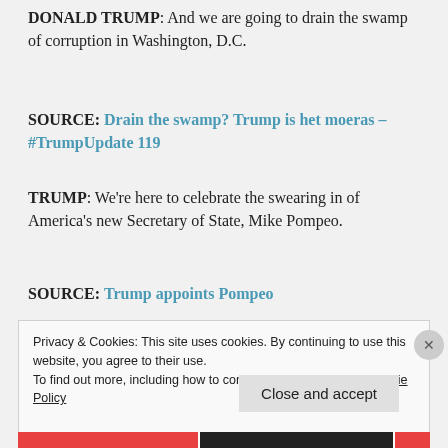DONALD TRUMP: And we are going to drain the swamp of corruption in Washington, D.C.
SOURCE: Drain the swamp? Trump is het moeras – #TrumpUpdate 119
TRUMP: We're here to celebrate the swearing in of America's new Secretary of State, Mike Pompeo.
SOURCE: Trump appoints Pompeo
Privacy & Cookies: This site uses cookies. By continuing to use this website, you agree to their use. To find out more, including how to control cookies, see here: Cookie Policy
Close and accept